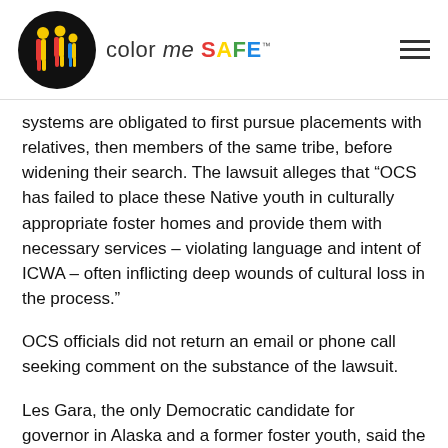color me SAFE
systems are obligated to first pursue placements with relatives, then members of the same tribe, before widening their search. The lawsuit alleges that “OCS has failed to place these Native youth in culturally appropriate foster homes and provide them with necessary services – violating language and intent of ICWA – often inflicting deep wounds of cultural loss in the process.”
OCS officials did not return an email or phone call seeking comment on the substance of the lawsuit.
Les Gara, the only Democratic candidate for governor in Alaska and a former foster youth, said the lawsuit highlights the failure of the current administration to enforce caseload requirements that are enshrined in state